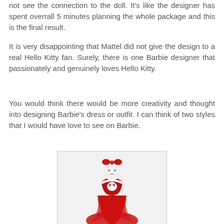not see the connection to the doll. It's like the designer has spent overrall 5 minutes planning the whole package and this is the final result.
It is very disappointing that Mattel did not give the design to a real Hello Kitty fan. Surely, there is one Barbie designer that passionately and genuinely loves Hello Kitty.
You would think there would be more creativity and thought into designing Barbie's dress or outfit. I can think of two styles that I would have love to see on Barbie.
[Figure (photo): A model wearing a red Hello Kitty inspired strapless ball gown with sequined bodice and tulle skirt, white hair with a red Hello Kitty bow on top, and a Hello Kitty emblem on the chest. The background is white/light grey.]